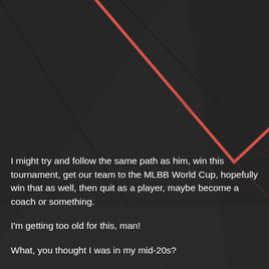[Figure (illustration): Dark textured geometric background with angular panel lines and a prominent red/salmon diagonal chevron stripe in the upper right area. The overall color is dark grey/charcoal with subtle panel seam lines.]
I might try and follow the same path as him, win this tournament, get our team to the MLBB World Cup, hopefully win that as well, then quit as a player, maybe become a coach or something.
I'm getting too old for this, man!
What, you thought I was in my mid-20s?